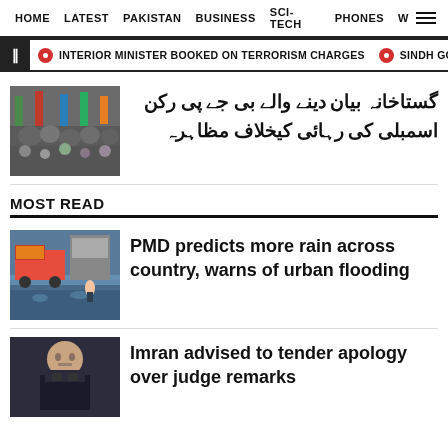HOME  LATEST  PAKISTAN  BUSINESS  SCI-TECH  PHONES  W
INTERIOR MINISTER BOOKED ON TERRORISM CHARGES   SINDH GOVT CON
گستاخانہ بیان دینے والے بی جے پی رکن اسمبلی کی رہائی کیخلاف مظاہرہ
MOST READ
PMD predicts more rain across country, warns of urban flooding
Imran advised to tender apology over judge remarks